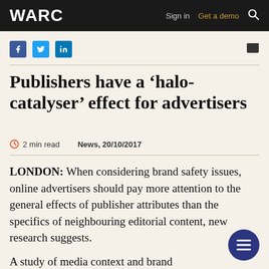WARC | Sign in | Get a demo
Publishers have a ‘halo-catalyser’ effect for advertisers
2 min read   News, 20/10/2017
LONDON: When considering brand safety issues, online advertisers should pay more attention to the general effects of publisher attributes than the specifics of neighbouring editorial content, new research suggests.
A study of media context and brand